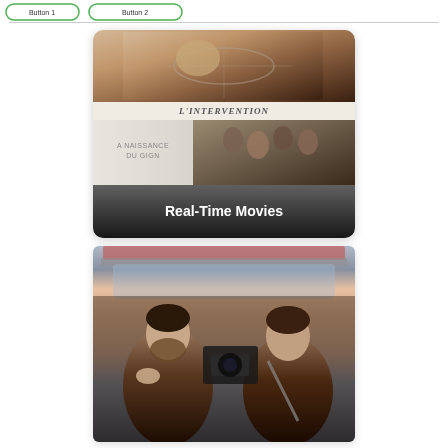[Figure (screenshot): Two navigation/filter buttons with green rounded-rectangle borders at top left]
[Figure (screenshot): Movie collection card showing L'Intervention sniper image at top, 'L'INTERVENTION' title text, 'LA NAISSANCE DU GIGN' text on left, group photo on right, and 'Real-Time Movies' text overlay at bottom on dark background]
[Figure (photo): Two people inside a car — person on left has beard and is gesturing with hand, person on right appears to be driving; car has a red/pink roof rack visible at top]